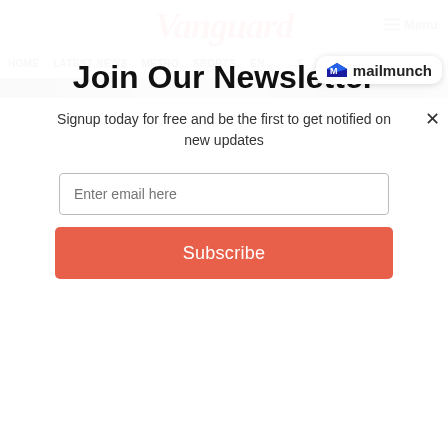Vanguard
Menu
[Figure (logo): Mailmunch logo badge with blue M icon and text 'mailmunch']
HOME  LATEST NEWS  METRO  SPORTS  ENTERTAINMENT  VIDEOS
Join Our Newsletter
Signup today for free and be the first to get notified on new updates
Enter email here
Subscribe